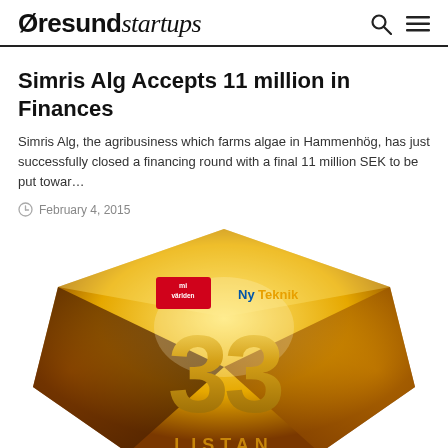Øresundstartups
Simris Alg Accepts 11 million in Finances
Simris Alg, the agribusiness which farms algae in Hammenhög, has just successfully closed a financing round with a final 11 million SEK to be put towar…
February 4, 2015
[Figure (illustration): Gold geometric/faceted award badge showing the number 33 with logos for Mi Världen and NyTeknik, and text LISTAN at the bottom]